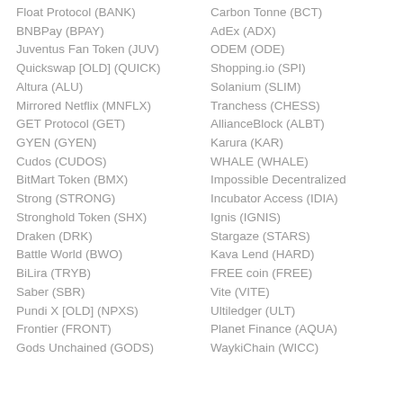Float Protocol (BANK)
BNBPay (BPAY)
Juventus Fan Token (JUV)
Quickswap [OLD] (QUICK)
Altura (ALU)
Mirrored Netflix (MNFLX)
GET Protocol (GET)
GYEN (GYEN)
Cudos (CUDOS)
BitMart Token (BMX)
Strong (STRONG)
Stronghold Token (SHX)
Draken (DRK)
Battle World (BWO)
BiLira (TRYB)
Saber (SBR)
Pundi X [OLD] (NPXS)
Frontier (FRONT)
Gods Unchained (GODS)
Carbon Tonne (BCT)
AdEx (ADX)
ODEM (ODE)
Shopping.io (SPI)
Solanium (SLIM)
Tranchess (CHESS)
AllianceBlock (ALBT)
Karura (KAR)
WHALE (WHALE)
Impossible Decentralized Incubator Access (IDIA)
Ignis (IGNIS)
Stargaze (STARS)
Kava Lend (HARD)
FREE coin (FREE)
Vite (VITE)
Ultiledger (ULT)
Planet Finance (AQUA)
WaykiChain (WICC)